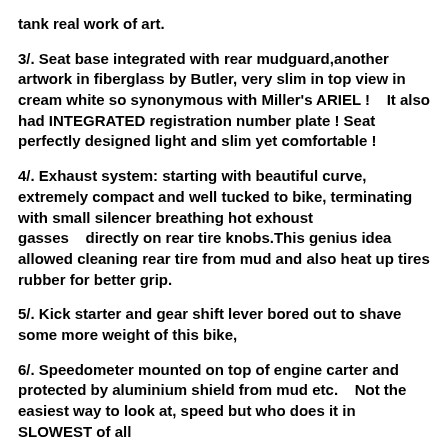tank real work of art.
3/. Seat base integrated with rear mudguard,another artwork in fiberglass by Butler, very slim in top view in cream white so synonymous with Miller's ARIEL !    It also had INTEGRATED registration number plate ! Seat perfectly designed light and slim yet comfortable !
4/. Exhaust system: starting with beautiful curve, extremely compact and well tucked to bike, terminating with small silencer breathing hot exhoust gasses    directly on rear tire knobs.This genius idea allowed cleaning rear tire from mud and also heat up tires rubber for better grip.
5/. Kick starter and gear shift lever bored out to shave some more weight of this bike,
6/. Speedometer mounted on top of engine carter and protected by aluminium shield from mud etc.    Not the easiest way to look at, speed but who does it in SLOWEST of all